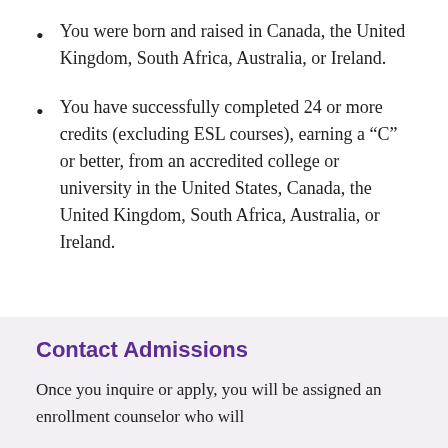You were born and raised in Canada, the United Kingdom, South Africa, Australia, or Ireland.
You have successfully completed 24 or more credits (excluding ESL courses), earning a “C” or better, from an accredited college or university in the United States, Canada, the United Kingdom, South Africa, Australia, or Ireland.
Contact Admissions
Once you inquire or apply, you will be assigned an enrollment counselor who will